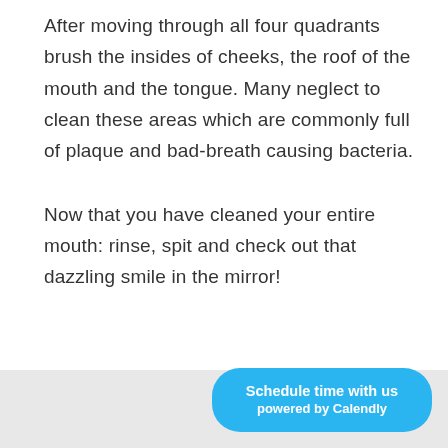After moving through all four quadrants brush the insides of cheeks, the roof of the mouth and the tongue. Many neglect to clean these areas which are commonly full of plaque and bad-breath causing bacteria.
Now that you have cleaned your entire mouth: rinse, spit and check out that dazzling smile in the mirror!
[Figure (other): A blue rounded button widget reading 'Schedule time with us powered by Calendly' on a light grey footer bar]